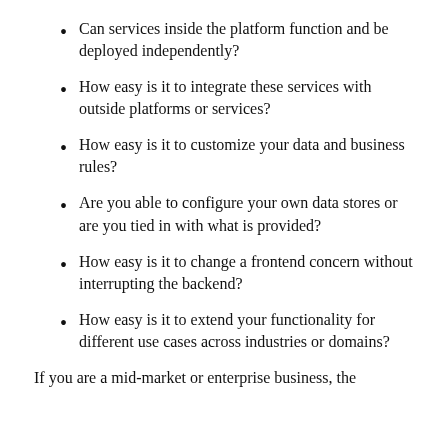Can services inside the platform function and be deployed independently?
How easy is it to integrate these services with outside platforms or services?
How easy is it to customize your data and business rules?
Are you able to configure your own data stores or are you tied in with what is provided?
How easy is it to change a frontend concern without interrupting the backend?
How easy is it to extend your functionality for different use cases across industries or domains?
If you are a mid-market or enterprise business, the